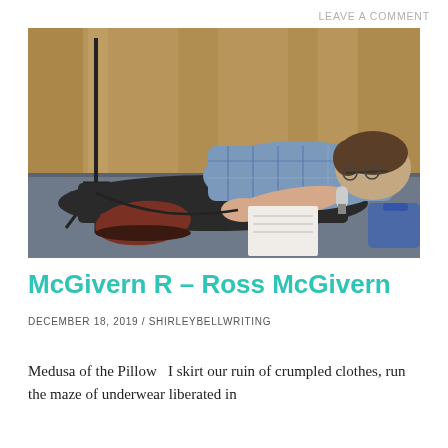LEAVE A COMMENT
[Figure (photo): A man lying on a stage floor, wearing a blue/grey plaid shirt and dark trousers, holding a microphone close to his face with a notebook open in front of him. A microphone stand and brown boots are visible. A golden curtain is in the background.]
McGivern R – Ross McGivern
DECEMBER 18, 2019 / SHIRLEYBELLWRITING
Medusa of the Pillow   I skirt our ruin of crumpled clothes, run the maze of underwear liberated in